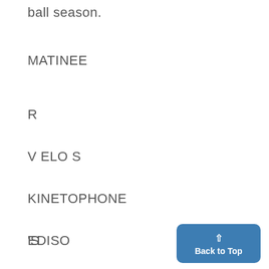ball season.
MATINEE
R
V ELO S
KINETOPHONE
EDISO
'S